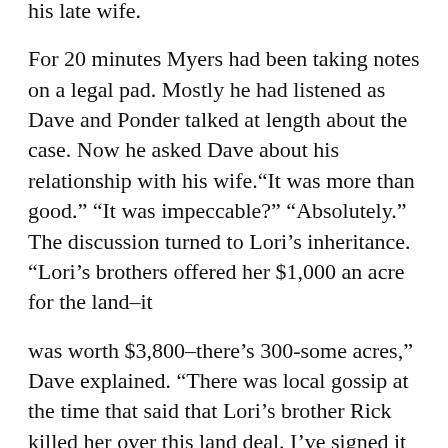his late wife.
For 20 minutes Myers had been taking notes on a legal pad. Mostly he had listened as Dave and Ponder talked at length about the case. Now he asked Dave about his relationship with his wife.“It was more than good.” “It was impeccable?” “Absolutely.” The discussion turned to Lori’s inheritance. “Lori’s brothers offered her $1,000 an acre for the land–it
was worth $3,800–there’s 300-some acres,” Dave explained. “There was local gossip at the time that said that Lori’s brother Rick killed her over this land deal. I’ve signed it all over to my kids. Believe me, the bank and the lawyers are milking this dry–no one’s going to end up with anything.”
Ponder talked a bit about filing a wrongful prosecution suit on Dave’s behalf, and Myers outlined his strategy of